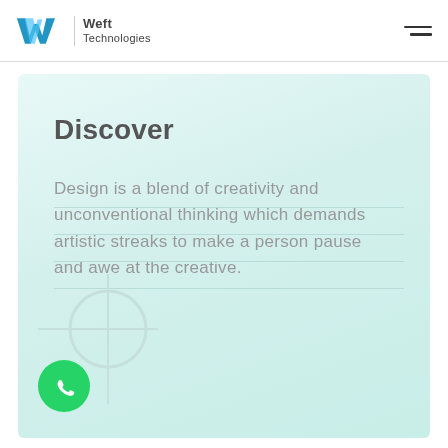Weft Technologies
Discover
Design is a blend of creativity and unconventional thinking which demands artistic streaks to make a person pause and awe at the creative.
[Figure (logo): WhatsApp icon button (green circle with phone handset)]
[Figure (illustration): Decorative crosshair/circle graphic in light teal]